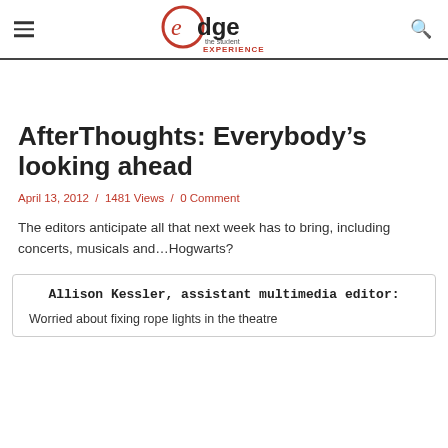edge the student EXPERIENCE
AfterThoughts: Everybody’s looking ahead
April 13, 2012 / 1481 Views / 0 Comment
The editors anticipate all that next week has to bring, including concerts, musicals and…Hogwarts?
Allison Kessler, assistant multimedia editor:
Worried about fixing rope lights in the theatre